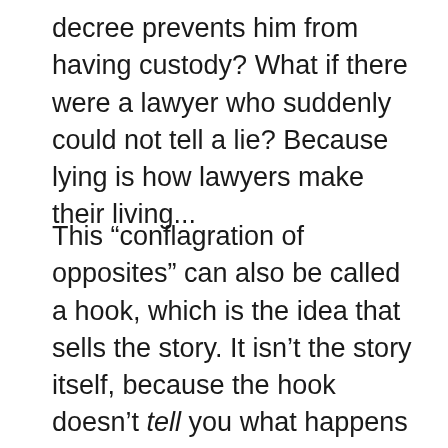decree prevents him from having custody? What if there were a lawyer who suddenly could not tell a lie? Because lying is how lawyers make their living...
This “conflagration of opposites” can also be called a hook, which is the idea that sells the story. It isn’t the story itself, because the hook doesn’t tell you what happens next – instead, it sets up the question “what happens next?” You can transcend what has been done before by added an epic element. i.e. Man’s struggle against nature; the